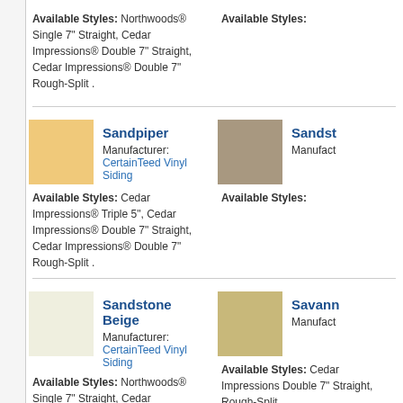Available Styles: Northwoods® Single 7" Straight, Cedar Impressions® Double 7" Straight, Cedar Impressions® Double 7" Rough-Split .
Available Styles: [truncated, right column]
Sandpiper
Manufacturer: CertainTeed Vinyl Siding
Available Styles: Cedar Impressions® Triple 5", Cedar Impressions® Double 7" Straight, Cedar Impressions® Double 7" Rough-Split .
Sandst… [truncated right column]
Sandstone Beige
Manufacturer: CertainTeed Vinyl Siding
Available Styles: Northwoods® Single 7" Straight, Cedar Impressions® Triple 5", Cedar Impressions® Double 7" Straight, Cedar Impressions® Double 7" Rough-Split .
Savann… [truncated right column]
Sea Breeze
Manufacturer: CertainTeed Vinyl Siding
Slate
Manufact…